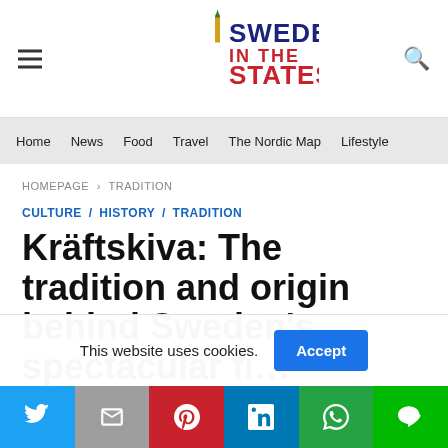SWEDES IN STATES
Home | News | Food | Travel | The Nordic Map | Lifestyle
HOMEPAGE › TRADITION
CULTURE / HISTORY / TRADITION
Kräftskiva: The tradition and origin behind Sweden's spectacular fish party
This website uses cookies.
Accept
Social share bar: Twitter, Gmail, Pinterest, LinkedIn, WhatsApp, LINE